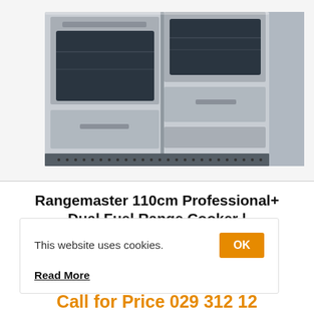[Figure (photo): Rangemaster 110cm Professional+ Dual Fuel Range Cooker in stainless steel, showing two oven compartments and a warming drawer.]
Rangemaster 110cm Professional+ Dual Fuel Range Cooker | PROP110DFFSS/C | Stainless Steel
SKU: PROP110DFFSS/C
This website uses cookies. OK
Read More
Call for Price 029 312 12